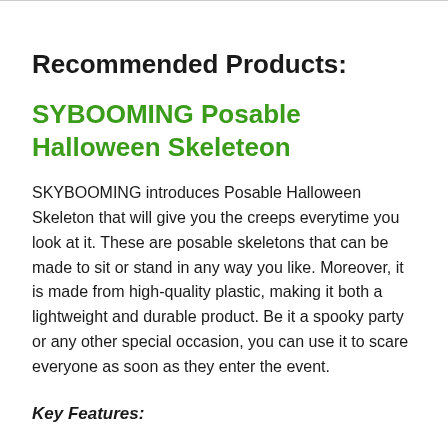Recommended Products:
SYBOOMING Posable Halloween Skeleteon
SKYBOOMING introduces Posable Halloween Skeleton that will give you the creeps everytime you look at it. These are posable skeletons that can be made to sit or stand in any way you like. Moreover, it is made from high-quality plastic, making it both a lightweight and durable product. Be it a spooky party or any other special occasion, you can use it to scare everyone as soon as they enter the event.
Key Features: